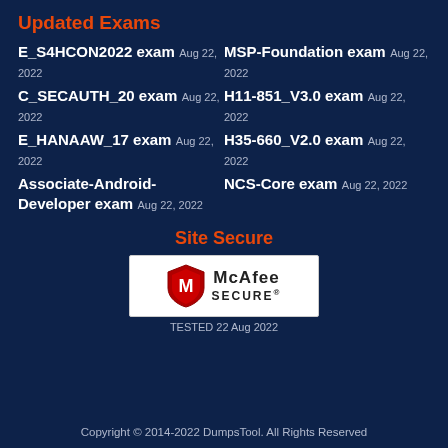Updated Exams
E_S4HCON2022 exam Aug 22, 2022
MSP-Foundation exam Aug 22, 2022
C_SECAUTH_20 exam Aug 22, 2022
H11-851_V3.0 exam Aug 22, 2022
E_HANAAW_17 exam Aug 22, 2022
H35-660_V2.0 exam Aug 22, 2022
Associate-Android-Developer exam Aug 22, 2022
NCS-Core exam Aug 22, 2022
Site Secure
[Figure (logo): McAfee SECURE logo with red shield icon and McAfee SECURE text]
TESTED 22 Aug 2022
Copyright © 2014-2022 DumpsTool. All Rights Reserved